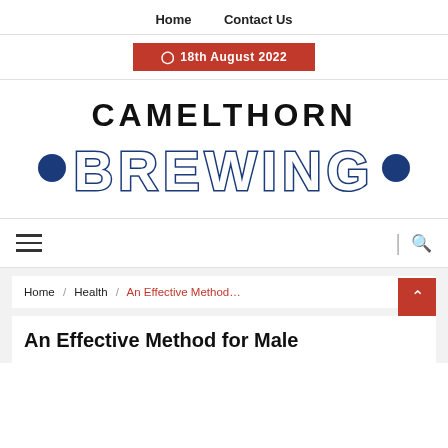Home   Contact Us
⊙ 18th August 2022
[Figure (logo): Camelthorn Brewing logo: bold black text CAMELTHORN above large dark blue outlined text BREWING, flanked by two dark blue filled circles on either side.]
≡  |  🔍
Home / Health / An Effective Method…
An Effective Method for Male